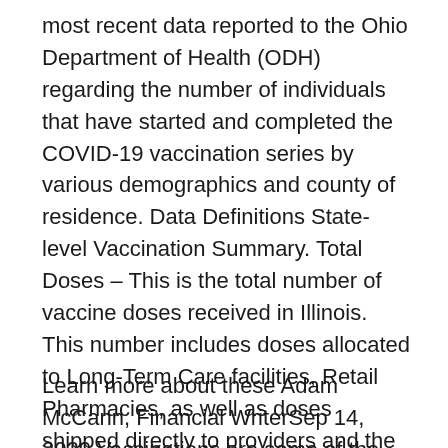most recent data reported to the Ohio Department of Health (ODH) regarding the number of individuals that have started and completed the COVID-19 vaccination series by various demographics and county of residence. Data Definitions State-level Vaccination Summary. Total Doses – This is the total number of vaccine doses received in Illinois. This number includes doses allocated to Long-Term Care facilities, Retail Pharmacies, as well as doses shipped directly to providers and the Illinois Department of Public Health Strategic National Stockpile. 2020-09-14 Missouri Vaccine Supply Data Data Download. Missouri Department of Health & Senior Services. Health.Mo.Gov.
Learn more about these Adam McCann, Financial WriterSep 14, 2020 Vaccinations are some of the